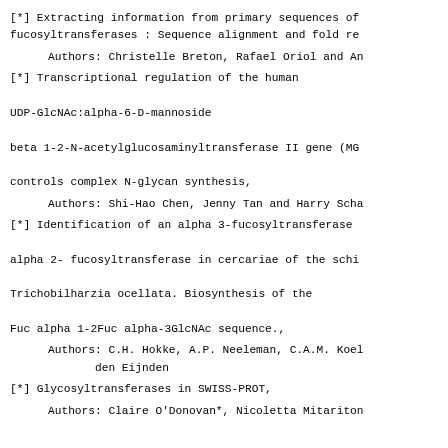[*] Extracting information from primary sequences of fucosyltransferases : Sequence alignment and fold re
Authors: Christelle Breton, Rafael Oriol and An
[*] Transcriptional regulation of the human UDP-GlcNAc:alpha-6-D-mannoside beta 1-2-N-acetylglucosaminyltransferase II gene (MG controls complex N-glycan synthesis,
Authors: Shi-Hao Chen, Jenny Tan and Harry Scha
[*] Identification of an alpha 3-fucosyltransferase alpha 2- fucosyltransferase in cercariae of the schi Trichobilharzia ocellata. Biosynthesis of the Fuc alpha 1-2Fuc alpha-3GlcNAc sequence.,
Authors: C.H. Hokke, A.P. Neeleman, C.A.M. Koel den Eijnden
[*] Glycosyltransferases in SWISS-PROT,
Authors: Claire O'Donovan*, Nicoletta Mitariton